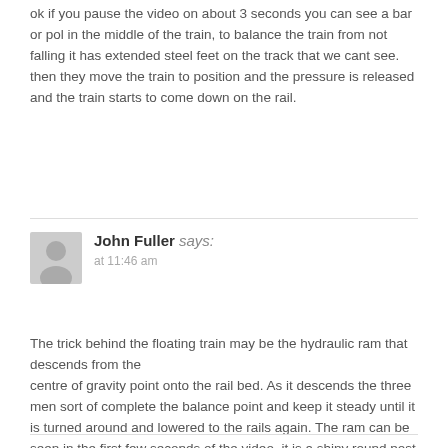ok if you pause the video on about 3 seconds you can see a bar or pol in the middle of the train, to balance the train from not falling it has extended steel feet on the track that we cant see. then they move the train to position and the pressure is released and the train starts to come down on the rail.
John Fuller says: at 11:46 am
The trick behind the floating train may be the hydraulic ram that descends from the centre of gravity point onto the rail bed. As it descends the three men sort of complete the balance point and keep it steady until it is turned around and lowered to the rails again. The ram can be seen in the first few seconds of the video. it is a shiny round post under the engine.